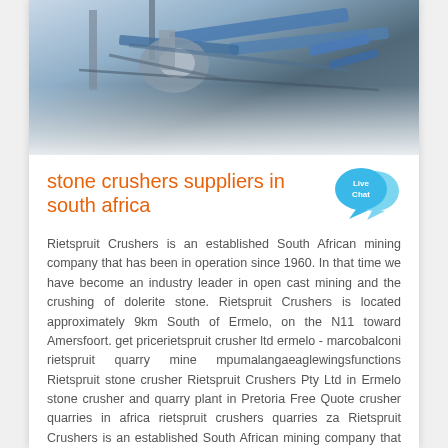[Figure (photo): Industrial stone crushing equipment and machinery, viewed from above, with blue conveyor structures and mechanical components.]
stone crushers suppliers in south africa
[Figure (illustration): Live Chat button with speech bubble icons in blue and cyan colors.]
Rietspruit Crushers is an established South African mining company that has been in operation since 1960. In that time we have become an industry leader in open cast mining and the crushing of dolerite stone. Rietspruit Crushers is located approximately 9km South of Ermelo, on the N11 toward Amersfoort. get pricerietspruit crusher ltd ermelo - marcobalconi rietspruit quarry mine mpumalangaeaglewingsfunctions Rietspruit stone crusher Rietspruit Crushers Pty Ltd in Ermelo stone crusher and quarry plant in Pretoria Free Quote crusher quarries in africa rietspruit crushers quarries za Rietspruit Crushers is an established South African mining company that has been in operation since 1960 Get More info...